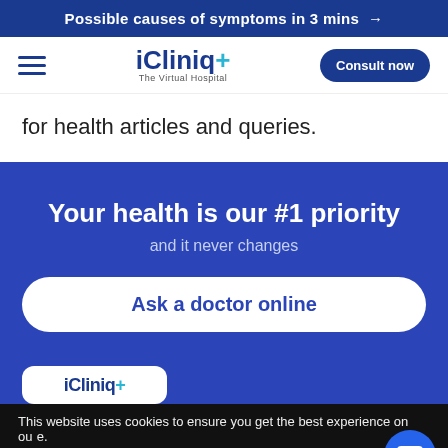Possible causes of symptoms in 3 mins →
[Figure (logo): iCliniq+ The Virtual Hospital logo with hamburger menu and Consult now button]
for health articles and queries.
Your health is our #1 priority
and it never changes
Ask a doctor online
[Figure (logo): iCliniq+ logo partial at bottom of blue section]
This website uses cookies to ensure you get the best experience on our site.
iCliniq privacy policy
Ok